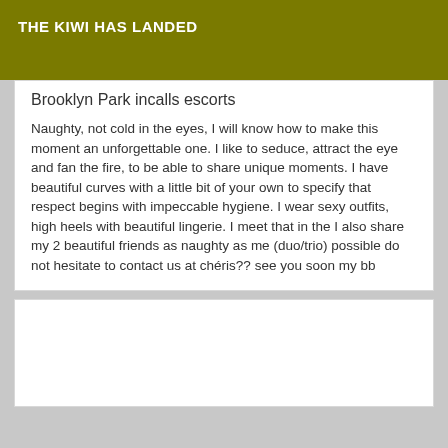THE KIWI HAS LANDED
Brooklyn Park incalls escorts
Naughty, not cold in the eyes, I will know how to make this moment an unforgettable one. I like to seduce, attract the eye and fan the fire, to be able to share unique moments. I have beautiful curves with a little bit of your own to specify that respect begins with impeccable hygiene. I wear sexy outfits, high heels with beautiful lingerie. I meet that in the I also share my 2 beautiful friends as naughty as me (duo/trio) possible do not hesitate to contact us at chéris?? see you soon my bb